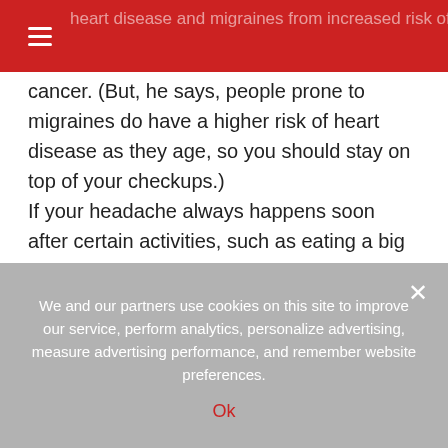heart disease and migraines from increased risk of lung cancer. (But, he says, people prone to migraines do have a higher risk of heart disease as they age, so you should stay on top of your checkups.)
cancer. (But, he says, people prone to migraines do have a higher risk of heart disease as they age, so you should stay on top of your checkups.) If your headache always happens soon after certain activities, such as eating a big meal, drinking wine, working on the computer or watching TV for long periods of time; coincides with your menstrual cycle; or if it goes away after a few hours, then it’s most likely nothing to worry about, Michael says.
Signs your migraine is more serious
We and our partners use cookies on this site to improve our service, perform analytics, personalize advertising, measure advertising performance, and remember website preferences.
Ok